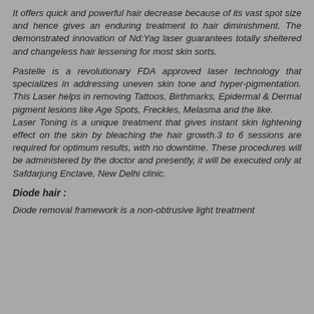It offers quick and powerful hair decrease because of its vast spot size and hence gives an enduring treatment to hair diminishment. The demonstrated innovation of Nd:Yag laser guarantees totally sheltered and changeless hair lessening for most skin sorts.
Pastelle is a revolutionary FDA approved laser technology that specializes in addressing uneven skin tone and hyper-pigmentation. This Laser helps in removing Tattoos, Birthmarks, Epidermal & Dermal pigment lesions like Age Spots, Freckles, Melasma and the like. Laser Toning is a unique treatment that gives instant skin lightening effect on the skin by bleaching the hair growth.3 to 6 sessions are required for optimum results, with no downtime. These procedures will be administered by the doctor and presently, it will be executed only at Safdarjung Enclave, New Delhi clinic.
Diode hair :
Diode removal framework is a non-obtrusive light treatment